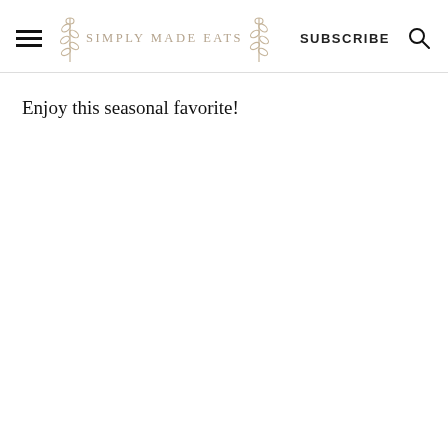SIMPLY MADE EATS | SUBSCRIBE
Enjoy this seasonal favorite!